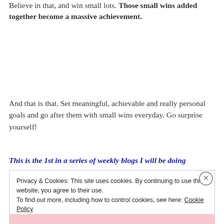Believe in that, and win small lots. Those small wins added together become a massive achievement.
And that is that. Set meaningful, achievable and really personal goals and go after them with small wins everyday. Go surprise yourself!
This is the 1st in a series of weekly blogs I will be doing
Privacy & Cookies: This site uses cookies. By continuing to use this website, you agree to their use. To find out more, including how to control cookies, see here: Cookie Policy
Close and accept